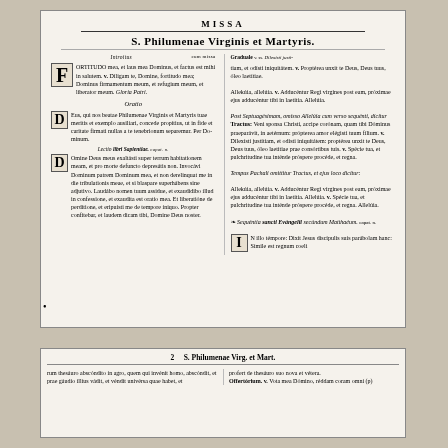MISSA
S. Philumenae Virginis et Martyris.
Introitus
FORTITUDO mea, et laus mea Dominus, et factus est mihi in salutem. v. Diligam te, Domine, fortitudo mea; Dominus firmamentum meum, et refugium meum, et liberator meus. Gloria Patri.
Oratio
Deus, qui nos beatae Philumenae Virginis et Martyris tuae meritis et exemplo ausiliari, concede propitius, ut in fide et caritate firmati nullas a te tenebrionum separemur. Per Dominum.
Lectio libri Sapientiae.
DOmine Deus meus exaltasti super terram habitationem meam, et pro morte defuncto depresatis non. Invocavi Dominum patrem Dominum mea, et non derelinquat me in die tribulationis meae, et si blaspare superhabens sine adjutivo. Laudabo nomen tuum assidue, et exaudibo illud in confessione, et exaudita est oratio mea. Et liberatiime de perditione, et eripuistim de tempore iniquo. Propter confitebar, et laudem dicam tibi, Domine Deus noster.
Graduale
Dilexisti justitiam, et odisti iniquitatem. v. Propterea unxit te Deus, Deus tuus, oleo laetitiae.
Alleluia, alleluia. v. Adducentur Regi virgines post eam, proximae ejus adducentur tibi in laetitia. Alleluia.
Post Septuagesimam, omisso Alleluia cum verso sequenti, dicitur
Tractus: Veni sponsa Christi, accipe coronam, quam tibi Dominus praeparavit, in aeternum: propter amorem elegisti tuum filium. v. Dilexisti justitiam, et odisti iniquitatem: propterea unxit te Deus, Deus tuus, oleo laetitiae prae consortibus tuis. v. Specie tua, et pulchritudine tua intende prosper procede, et regna.
Tempus Paschali omittitur Tractus et ejus loco dicitur:
Alleluia, alleluia. v. Adducentur Regi virgines post eam, proximae ejus adducentur tibi in laetitia. Alleluia. v. Specie tua, et pulchritudine tua intende prospere procede, et regna. Alleluia.
Sequentia sancti Evangelii secundum Matthaeum.
IN illo tempore: Dixit Jesus discipulis suis parabolam hanc: Simile est regnum coeli
2   S. Philumenae Virg. et Mart.
rum thesauro abscondito in agro, quem qui invenit homo, abscondit, et prae gaudio illius vadit, et vendit universa quae habet, et
profert de thesauro suo nova et vetera.
Offertorium. v. Vota mea Domino, reddam coram omni (p)